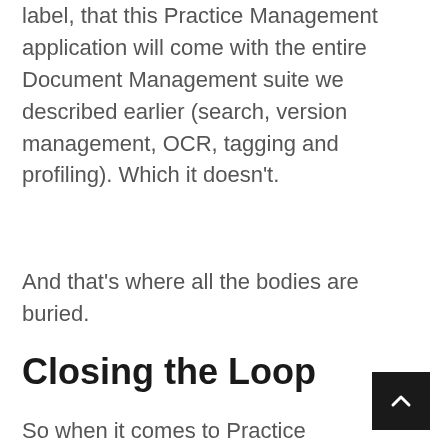label, that this Practice Management application will come with the entire Document Management suite we described earlier (search, version management, OCR, tagging and profiling). Which it doesn't.
And that's where all the bodies are buried.
Closing the Loop
So when it comes to Practice Management vs. Document